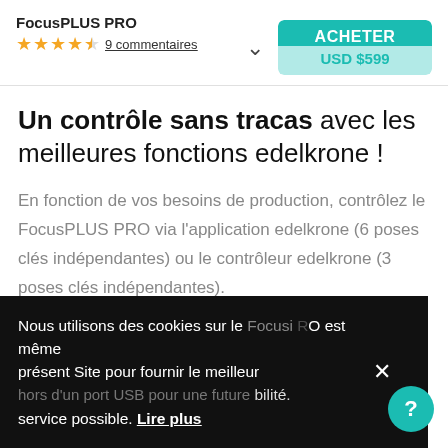FocusPLUS PRO — 9 commentaires — ACHETER USD $599
Un contrôle sans tracas avec les meilleures fonctions edelkrone !
En fonction de vos besoins de production, contrôlez le FocusPLUS PRO via l'application edelkrone (6 poses clés indépendantes) ou le contrôleur edelkrone (3 poses clés indépendantes).
Une seule batterie LP-E6 peut alimenter le FocusPLUS PRO pour une portabilité maximale, ou une entrée CC externe peut alimenter le FocusPLUS PRO pour
Nous utilisons des cookies sur le présent Site pour fournir le meilleur service possible. Lire plus